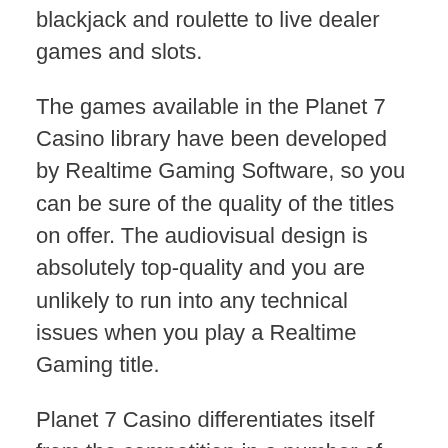blackjack and roulette to live dealer games and slots.
The games available in the Planet 7 Casino library have been developed by Realtime Gaming Software, so you can be sure of the quality of the titles on offer. The audiovisual design is absolutely top-quality and you are unlikely to run into any technical issues when you play a Realtime Gaming title.
Planet 7 Casino differentiates itself from the competition in a number of different ways. For example, users who opt into the casino's VIP program can take advantage of birthday gifts, rewarding them with some very welcome freebies on the day.  They will also get access to a casino insurance program and a range of other monthly bonuses that aren't available to regular players.